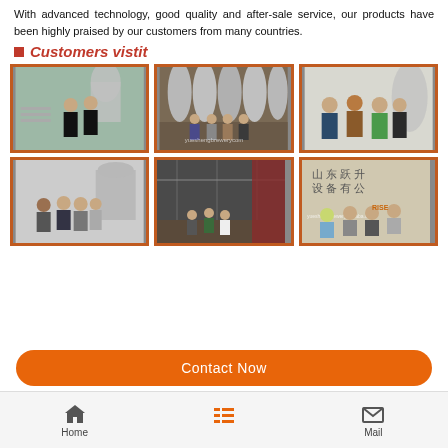With advanced technology, good quality and after-sale service, our products have been highly praised by our customers from many countries.
Customers vistit
[Figure (photo): Grid of six customer visit photos showing groups of people in brewery/factory settings with stainless steel tanks]
Contact Now | Home | Mail